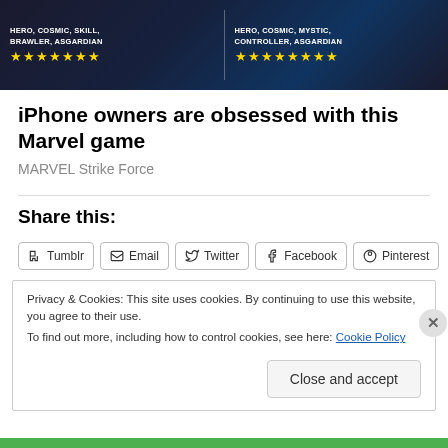[Figure (screenshot): Marvel Strike Force game advertisement banner showing two heroes (Valkyrie and Mighty Thor) with tags HERO, COSMIC, SKILL, BRAWLER, ASGARDIAN and HERO, COSMIC, MYSTIC, CONTROLLER, ASGARDIAN, each with 7 gold stars]
iPhone owners are obsessed with this Marvel game
MARVEL Strike Force
Share this:
Tumblr  Email  Twitter  Facebook  Pinterest
Privacy & Cookies: This site uses cookies. By continuing to use this website, you agree to their use.
To find out more, including how to control cookies, see here: Cookie Policy
Close and accept